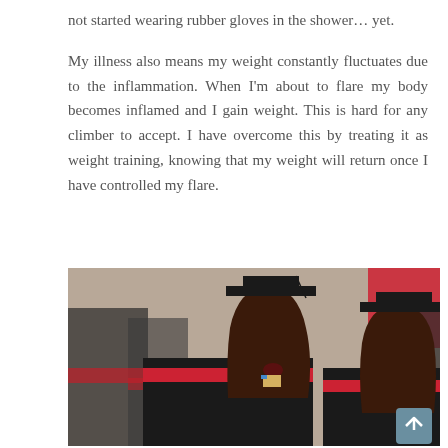not started wearing rubber gloves in the shower… yet.
My illness also means my weight constantly fluctuates due to the inflammation. When I'm about to flare my body becomes inflamed and I gain weight. This is hard for any climber to accept. I have overcome this by treating it as weight training, knowing that my weight will return once I have controlled my flare.
[Figure (photo): Two young women in graduation gowns and mortarboard caps, one eating something and looking surprised, the other looking sideways. They wear black gowns with red trim. Other graduates visible in the background.]